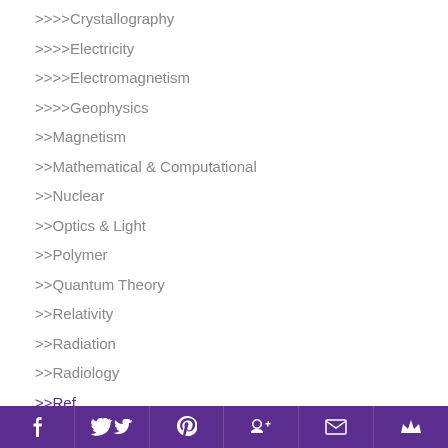>>>>Crystallography
>>>>Electricity
>>>>Electromagnetism
>>>>Geophysics
>>Magnetism
>>Mathematical & Computational
>>Nuclear
>>Optics & Light
>>Polymer
>>Quantum Theory
>>Relativity
>>Radiation
>>Radiology
>>Ref...
Social share bar: Facebook, Twitter, Pinterest, Google+, Email, Crown